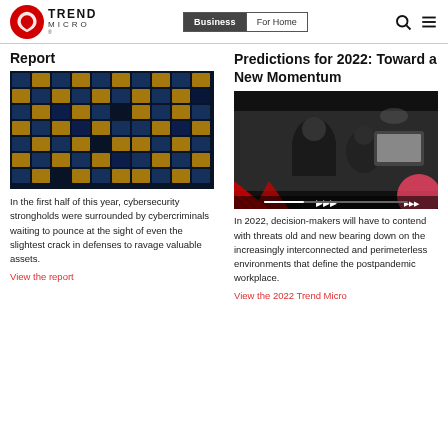Trend Micro — Business | For Home
Report
[Figure (photo): Office building exterior at night with illuminated windows grid]
In the first half of this year, cybersecurity strongholds were surrounded by cybercriminals waiting to pounce at the sight of even the slightest crack in defenses to ravage valuable assets.
View the report
Predictions for 2022: Toward a New Momentum
[Figure (photo): Black and white photo of two people working at a computer with red graphic design overlays and play button]
In 2022, decision-makers will have to contend with threats old and new bearing down on the increasingly interconnected and perimeterless environments that define the postpandemic workplace.
View the 2022 Trend Micro